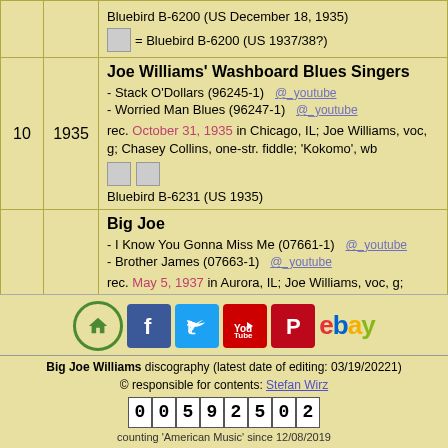| # | Year | Details |
| --- | --- | --- |
|  |  | Bluebird B-6200 (US December 18, 1935)
= Bluebird B-6200 (US 1937/38?) |
| 10 | 1935 | Joe Williams' Washboard Blues Singers
- Stack O'Dollars (96245-1) @_youtube
- Worried Man Blues (96247-1) @_youtube
rec. October 31, 1935 in Chicago, IL; Joe Williams, voc, g; Chasey Collins, one-str. fiddle; 'Kokomo', wb
Bluebird B-6231 (US 1935) |
|  |  | Big Joe
- I Know You Gonna Miss Me (07661-1) @_youtube
- Brother James (07663-1) @_youtube
rec. May 5, 1937 in Aurora, IL; Joe Williams, voc, g; Robert Lee McCoy, g; Sonny Boy Williamson, hca |
[Figure (infographic): Social media icon bar: home, Facebook, Twitter, YouTube, Pinterest, eBay]
Big Joe Williams discography (latest date of editing: 03/19/20221)
© responsible for contents: Stefan Wirz
00592502
counting 'American Music' since 12/08/2019